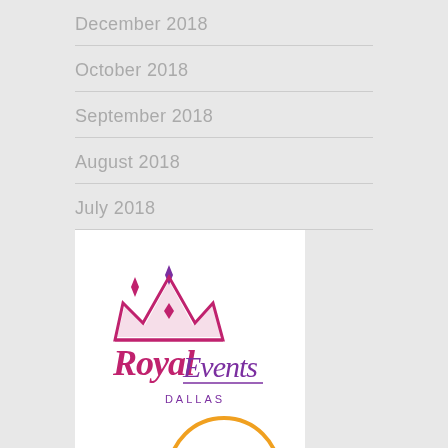December 2018
October 2018
September 2018
August 2018
July 2018
[Figure (logo): Royal Events Dallas logo — a crown above stylized cursive text reading 'Royal Events' with 'DALLAS' in small caps below, in pink/magenta and purple colors on white background]